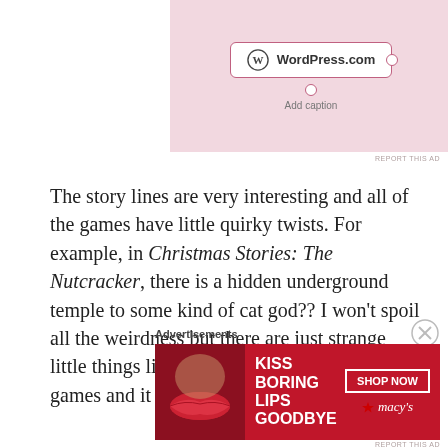[Figure (screenshot): WordPress.com add caption UI with pink background, showing a WordPress.com logo button with a dotted border and 'Add caption' text below]
The story lines are very interesting and all of the games have little quirky twists. For example, in Christmas Stories: The Nutcracker, there is a hidden underground temple to some kind of cat god?? I won't spoil all the weirdness but there are just strange little things like that throughout all three games and it made me love them even more.
Advertisements
[Figure (screenshot): Macy's advertisement banner with red background showing 'KISS BORING LIPS GOODBYE' text with a woman's face and red lips, plus 'SHOP NOW' button and Macy's star logo]